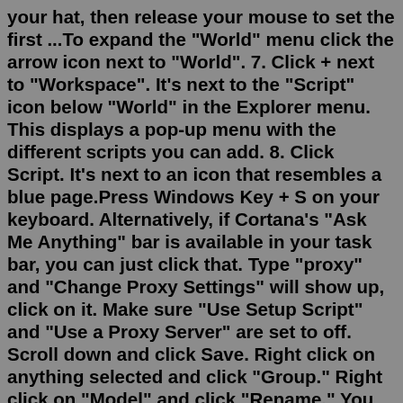your hat, then release your mouse to set the first ...To expand the "World" menu click the arrow icon next to "World". 7. Click + next to "Workspace". It's next to the "Script" icon below "World" in the Explorer menu. This displays a pop-up menu with the different scripts you can add. 8. Click Script. It's next to an icon that resembles a blue page.Press Windows Key + S on your keyboard. Alternatively, if Cortana's "Ask Me Anything" bar is available in your task bar, you can just click that. Type "proxy" and "Change Proxy Settings" will show up, click on it. Make sure "Use Setup Script" and "Use a Proxy Server" are set to off. Scroll down and click Save. Right click on anything selected and click "Group." Right click on "Model" and click "Rename." You can name it anything you want. Publish it. Right click on Model and click Save to Roblox. You should get a window that looks like in the image. Click "Create New" after. Name the model and add a description.Please choose a file. To publish to Roblox, go to the publish area. Then click Create,